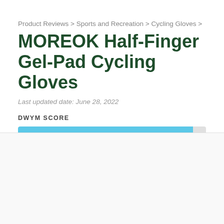Product Reviews > Sports and Recreation > Cycling Gloves >
MOREOK Half-Finger Gel-Pad Cycling Gloves
Last updated date: June 28, 2022
DWYM SCORE
[Figure (bar-chart): DWYM Score]